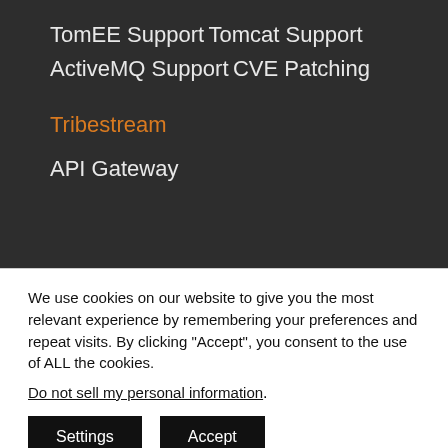TomEE Support
Tomcat Support
ActiveMQ Support
CVE Patching
Tribestream
API Gateway
We use cookies on our website to give you the most relevant experience by remembering your preferences and repeat visits. By clicking "Accept", you consent to the use of ALL the cookies.
Do not sell my personal information.
Settings  Accept